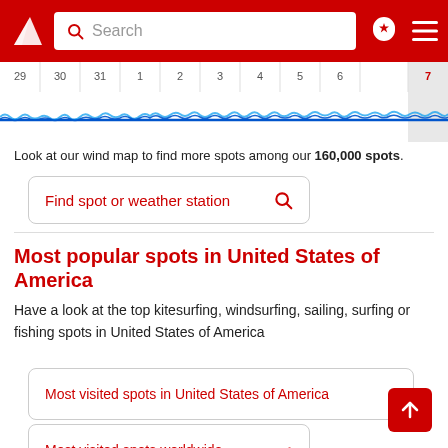[Figure (screenshot): Website header with red background, logo, search bar, location pin icon, and hamburger menu icon]
[Figure (line-chart): Wind forecast chart showing dates 29, 30, 31, 1, 2, 3, 4, 5, 6, 7 with small blue wave lines near baseline indicating low wind, date 7 highlighted in grey]
Look at our wind map to find more spots among our 160,000 spots.
Find spot or weather station
Most popular spots in United States of America
Have a look at the top kitesurfing, windsurfing, sailing, surfing or fishing spots in United States of America
Most visited spots in United States of America
Most visited spots worldwide